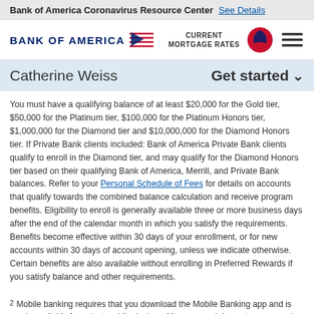Bank of America Coronavirus Resource Center  See Details
[Figure (logo): Bank of America logo with flag icon, CURRENT MORTGAGE RATES label, red circle icon, and hamburger menu icon]
Catherine Weiss   Get started
You must have a qualifying balance of at least $20,000 for the Gold tier, $50,000 for the Platinum tier, $100,000 for the Platinum Honors tier, $1,000,000 for the Diamond tier and $10,000,000 for the Diamond Honors tier. If Private Bank clients included: Bank of America Private Bank clients qualify to enroll in the Diamond tier, and may qualify for the Diamond Honors tier based on their qualifying Bank of America, Merrill, and Private Bank balances. Refer to your Personal Schedule of Fees for details on accounts that qualify towards the combined balance calculation and receive program benefits. Eligibility to enroll is generally available three or more business days after the end of the calendar month in which you satisfy the requirements. Benefits become effective within 30 days of your enrollment, or for new accounts within 30 days of account opening, unless we indicate otherwise. Certain benefits are also available without enrolling in Preferred Rewards if you satisfy balance and other requirements.
2  Mobile banking requires that you download the Mobile Banking app and is only available for select mobile devices. Message and data rates may apply.